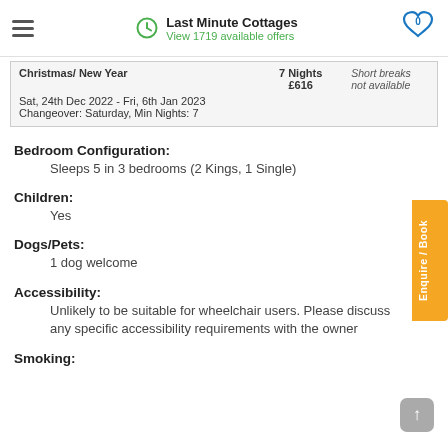Last Minute Cottages — View 1719 available offers
| Season / Date | Nights / Price | Short Breaks |
| --- | --- | --- |
| Christmas/ New Year | 7 Nights £616 | Short breaks not available |
| Sat, 24th Dec 2022 - Fri, 6th Jan 2023
Changeover: Saturday, Min Nights: 7 |  |  |
Bedroom Configuration:
Sleeps 5 in 3 bedrooms (2 Kings, 1 Single)
Children:
Yes
Dogs/Pets:
1 dog welcome
Accessibility:
Unlikely to be suitable for wheelchair users. Please discuss any specific accessibility requirements with the owner
Smoking: